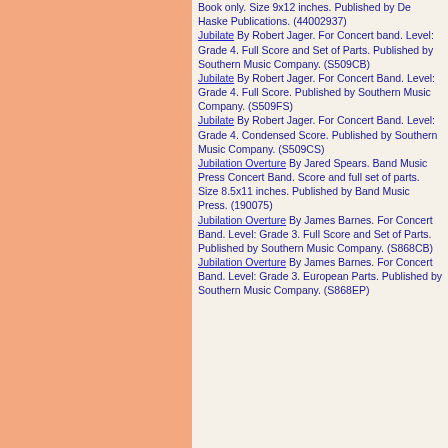Book only. Size 9x12 inches. Published by De Haske Publications. (44002937) Jubilate By Robert Jager. For Concert band. Level: Grade 4. Full Score and Set of Parts. Published by Southern Music Company. (S509CB) Jubilate By Robert Jager. For Concert Band. Level: Grade 4. Full Score. Published by Southern Music Company. (S509FS) Jubilate By Robert Jager. For Concert Band. Level: Grade 4. Condensed Score. Published by Southern Music Company. (S509CS) Jubilation Overture By Jared Spears. Band Music Press Concert Band. Score and full set of parts. Size 8.5x11 inches. Published by Band Music Press. (190075) Jubilation Overture By James Barnes. For Concert Band. Level: Grade 3. Full Score and Set of Parts. Published by Southern Music Company. (S868CB) Jubilation Overture By James Barnes. For Concert Band. Level: Grade 3. European Parts. Published by Southern Music Company. (S868EP)